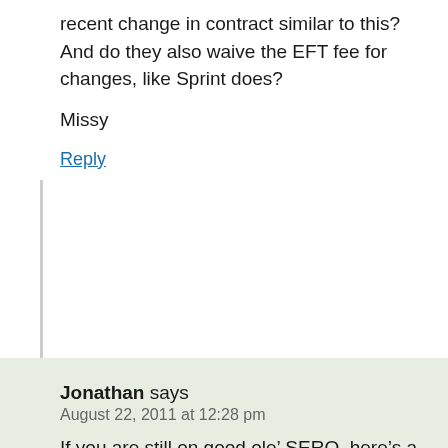recent change in contract similar to this? And do they also waive the EFT fee for changes, like Sprint does?
Missy
Reply
Jonathan says
August 22, 2011 at 12:28 pm
If you are still on good ole’ SERO, here’s a reminder of your options with the SERO Premium plan:
https://www.mymoneyblog.com/sprint-sero-premium-plan-details-available.html
Let’s say you’re on the $30 plan. Basically, if you want a “smartphone” with either Windows 7 or